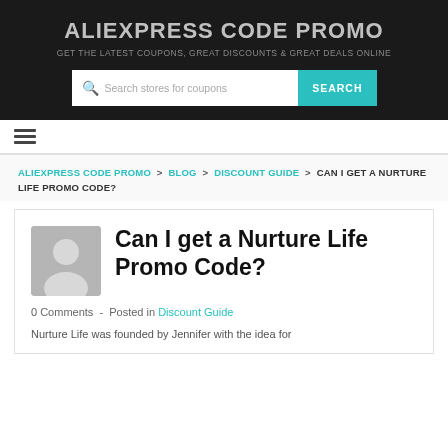ALIEXPRESS CODE PROMO
GET THE LATEST COUPONS, GREAT DISCOUNTS & GREAT DEALS ONLINE
[Figure (screenshot): Search box with placeholder 'Search stores for coupons' and a teal SEARCH button]
[Figure (other): Hamburger navigation menu icon (three horizontal lines)]
ALIEXPRESS CODE PROMO > BLOG > DISCOUNT GUIDE > CAN I GET A NURTURE LIFE PROMO CODE?
Can I get a Nurture Life Promo Code?
0 Comments  -  Posted in Discount Guide
Nurture Life was founded by Jennifer with the idea for